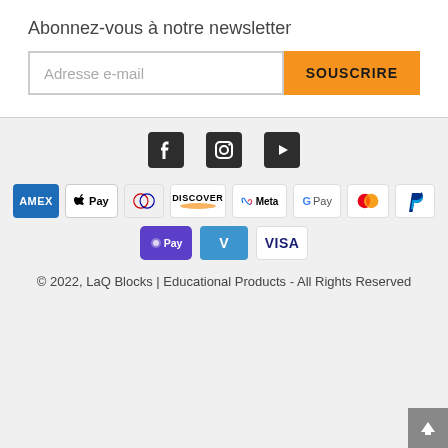Abonnez-vous à notre newsletter
Adresse e-mail
SOUSCRIRE
[Figure (illustration): Social media icons: Facebook, Instagram, YouTube]
[Figure (illustration): Payment method badges: AMEX, Apple Pay, Diners, Discover, Meta, Google Pay, Mastercard, PayPal, OPay, Venmo, VISA]
© 2022, LaQ Blocks | Educational Products - All Rights Reserved